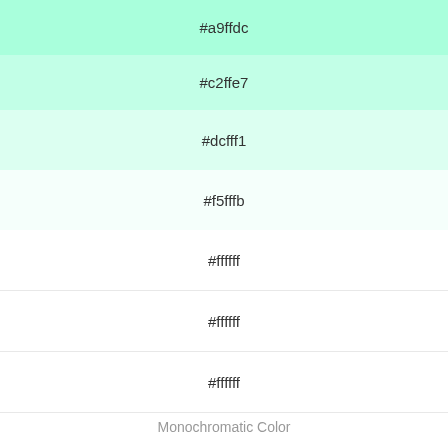[Figure (infographic): Color swatch for #a9ffdc (mint green)]
[Figure (infographic): Color swatch for #c2ffe7 (light mint)]
[Figure (infographic): Color swatch for #dcfff1 (very light mint)]
[Figure (infographic): Color swatch for #f5fffb (near white mint)]
[Figure (infographic): Color swatch for #ffffff (white)]
[Figure (infographic): Color swatch for #ffffff (white)]
[Figure (infographic): Color swatch for #ffffff (white)]
Monochromatic Color
Alternatives to #f5fffb
Below, you can see some colors close to #f5fffb. Having